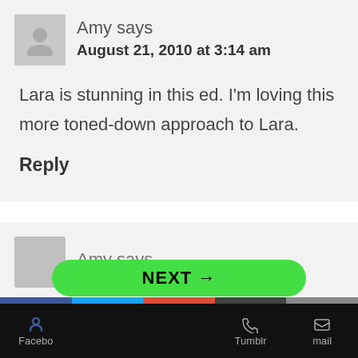Amy says
August 21, 2010 at 3:14 am
Lara is stunning in this ed. I'm loving this more toned-down approach to Lara.
Reply
Amy says
NEXT →